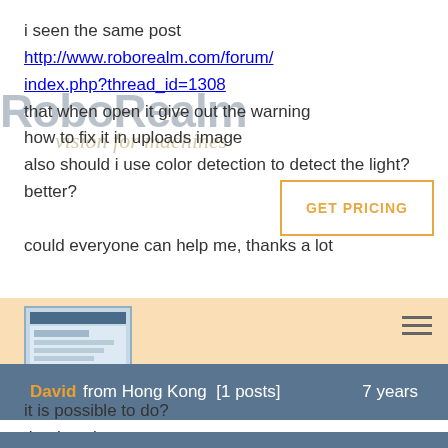i seen the same post http://www.roborealm.com/forum/index.php?thread_id=1308 that when open it give out the warning how to fix it in uploads image also should i use color detection to detect the light?better? could everyone can help me, thanks a lot
[Figure (screenshot): Screenshot of a software interface window]
David from Hong Kong  [1 posts]    7 years
it is possible to do?
thanks a lot
Carl from United States  [18 posts]    7 years